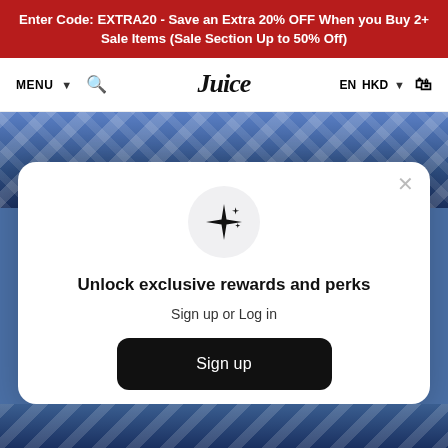Enter Code: EXTRA20 - Save an Extra 20% OFF When you Buy 2+ Sale Items (Sale Section Up to 50% Off)
MENU  🔍  Juice  EN  HKD  🛒
[Figure (screenshot): Blue plaid/denim fabric texture background image used as hero banner]
[Figure (other): Modal popup with sparkle icon, sign up prompt. Contains title 'Unlock exclusive rewards and perks', subtitle 'Sign up or Log in', a black Sign up button, and 'Already have an account? Sign in' link]
Unlock exclusive rewards and perks
Sign up or Log in
Sign up
Already have an account? Sign in